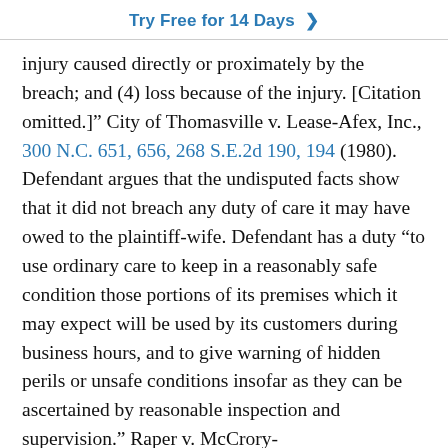Try Free for 14 Days >
injury caused directly or proximately by the breach; and (4) loss because of the injury. [Citation omitted.]” City of Thomasville v. Lease-Afex, Inc., 300 N.C. 651, 656, 268 S.E.2d 190, 194 (1980). Defendant argues that the undisputed facts show that it did not breach any duty of care it may have owed to the plaintiff-wife. Defendant has a duty “to use ordinary care to keep in a reasonably safe condition those portions of its premises which it may expect will be used by its customers during business hours, and to give warning of hidden perils or unsafe conditions insofar as they can be ascertained by reasonable inspection and supervision.” Raper v. McCrory-[...] 59 N.C. [...] S.E.2d 281, 283 ([...] and [...] is created by third parties or an independent agency it